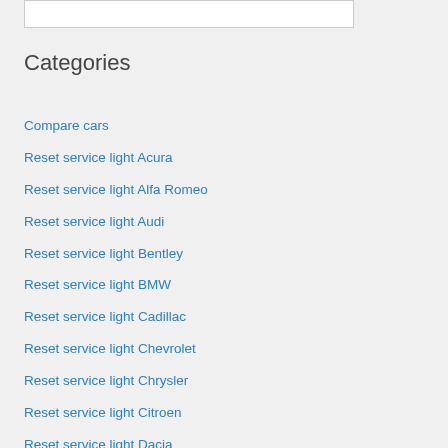Categories
Compare cars
Reset service light Acura
Reset service light Alfa Romeo
Reset service light Audi
Reset service light Bentley
Reset service light BMW
Reset service light Cadillac
Reset service light Chevrolet
Reset service light Chrysler
Reset service light Citroen
Reset service light Dacia